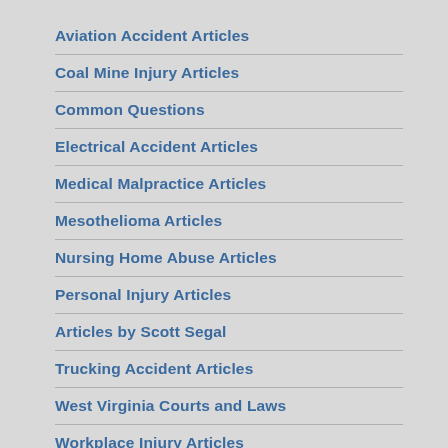Aviation Accident Articles
Coal Mine Injury Articles
Common Questions
Electrical Accident Articles
Medical Malpractice Articles
Mesothelioma Articles
Nursing Home Abuse Articles
Personal Injury Articles
Articles by Scott Segal
Trucking Accident Articles
West Virginia Courts and Laws
Workplace Injury Articles